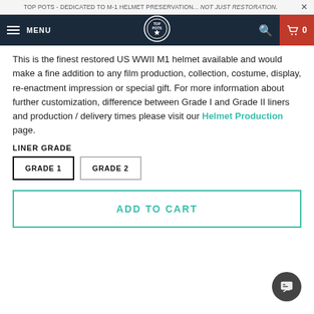TOP POTS - DEDICATED TO M-1 HELMET PRESERVATION... NOT JUST RESTORATION.
[Figure (logo): Top Pots website navigation bar with hamburger menu, MENU label, circular star logo, search icon, and red cart button showing 0 items]
This is the finest restored US WWII M1 helmet available and would make a fine addition to any film production, collection, costume, display, re-enactment impression or special gift. For more information about further customization, difference between Grade I and Grade II liners and production / delivery times please visit our Helmet Production page.
LINER GRADE
GRADE 1  GRADE 2
ADD TO CART